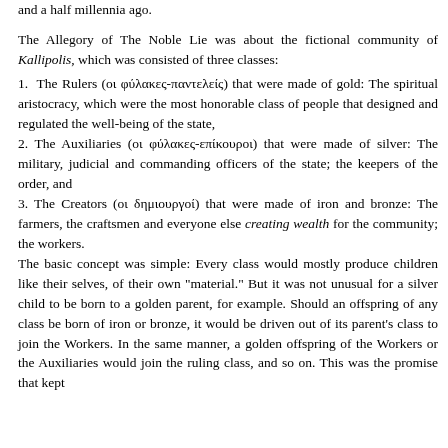and a half millennia ago.
The Allegory of The Noble Lie was about the fictional community of Kallipolis, which was consisted of three classes:
1. The Rulers (οι φύλακες-παντελείς) that were made of gold: The spiritual aristocracy, which were the most honorable class of people that designed and regulated the well-being of the state,
2. The Auxiliaries (οι φύλακες-επίκουροι) that were made of silver: The military, judicial and commanding officers of the state; the keepers of the order, and
3. The Creators (οι δημιουργοί) that were made of iron and bronze: The farmers, the craftsmen and everyone else creating wealth for the community; the workers.
The basic concept was simple: Every class would mostly produce children like their selves, of their own "material." But it was not unusual for a silver child to be born to a golden parent, for example. Should an offspring of any class be born of iron or bronze, it would be driven out of its parent's class to join the Workers. In the same manner, a golden offspring of the Workers or the Auxiliaries would join the ruling class, and so on. This was the promise that kept